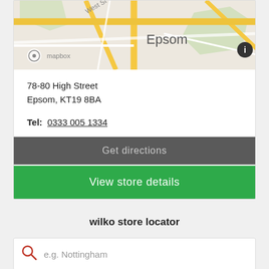[Figure (map): Mapbox street map showing Epsom area with roads and the label 'Epsom' visible, with a mapbox logo and info icon]
78-80 High Street
Epsom, KT19 8BA
Tel:  0333 005 1334
Get directions
View store details
wilko store locator
e.g. Nottingham